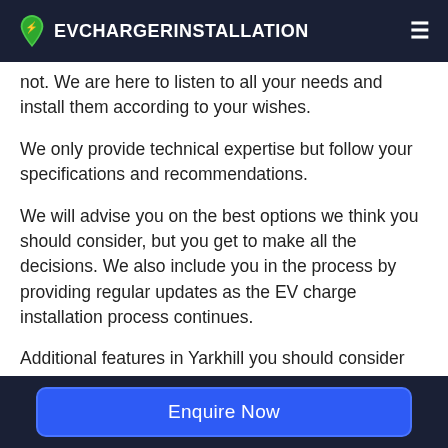EVCHARGERINSTALLATION
not. We are here to listen to all your needs and install them according to your wishes.
We only provide technical expertise but follow your specifications and recommendations.
We will advise you on the best options we think you should consider, but you get to make all the decisions. We also include you in the process by providing regular updates as the EV charge installation process continues.
Additional features in Yarkhill you should consider include whether you want to control
Enquire Now